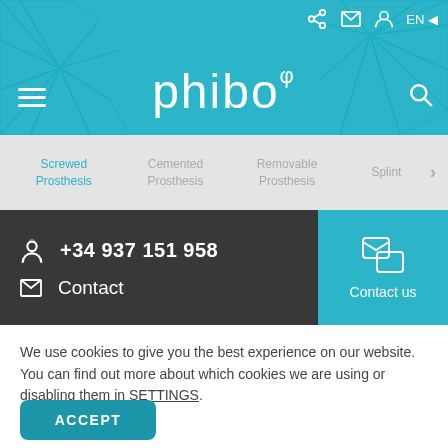[Figure (screenshot): Phibo dental website header with teal background, geometric pattern, hamburger menu, phibo φ logo, search icon, and top navigation icons (share, email, user, EN language)]
Screwed Prosthesis
Cemented Prosthesis
Removable Prosthesis
Splint
+34 937 151 958
Contact
Contact us
We use cookies to give you the best experience on our website. You can find out more about which cookies we are using or disabling them in SETTINGS.
ACCEPT